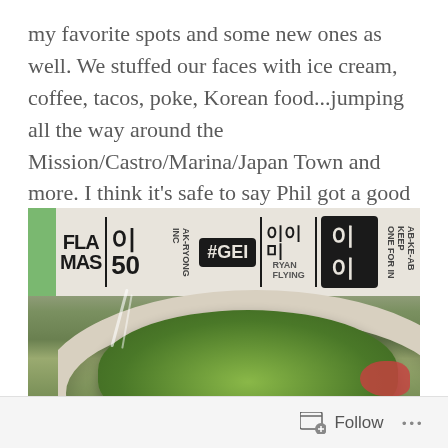my favorite spots and some new ones as well. We stuffed our faces with ice cream, coffee, tacos, poke, Korean food...jumping all the way around the Mission/Castro/Marina/Japan Town and more. I think it's safe to say Phil got a good taste of SF in our few days of hanging out.
[Figure (photo): A bowl of Korean food (likely bibimbap or similar dish with green avocado/sauce topping) on a table with Korean text menu/signage visible in the background. The photo is taken at a casual Korean restaurant.]
Follow ...